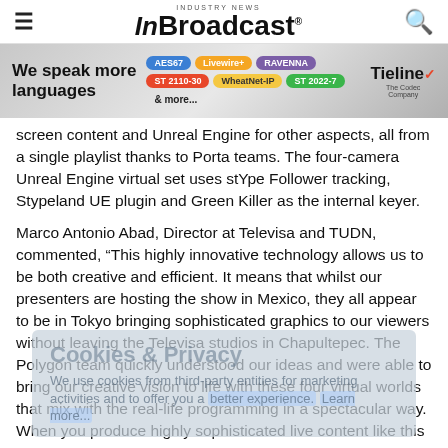InBroadcast — Industry News
[Figure (infographic): Tieline banner advertisement: 'We speak more languages' with protocol tags AES67, Livewire+, RAVENNA, ST 2110-30, WheatNet-IP, ST 2022-7, & more... Tieline The Codec Company logo]
screen content and Unreal Engine for other aspects, all from a single playlist thanks to Porta teams. The four-camera Unreal Engine virtual set uses stYpe Follower tracking, Stypeland UE plugin and Green Killer as the internal keyer.
Marco Antonio Abad, Director at Televisa and TUDN, commented, “This highly innovative technology allows us to be both creative and efficient. It means that whilst our presenters are hosting the show in Mexico, they all appear to be in Tokyo bringing sophisticated graphics to our viewers without leaving the Televisa studios in Chapultepec. The Polygon team quickly understood our ideas and were able to bring our creative vision to life with these four virtual worlds that mix with the real-life programming in a spectacular way. When you produce highly sophisticated live content like this